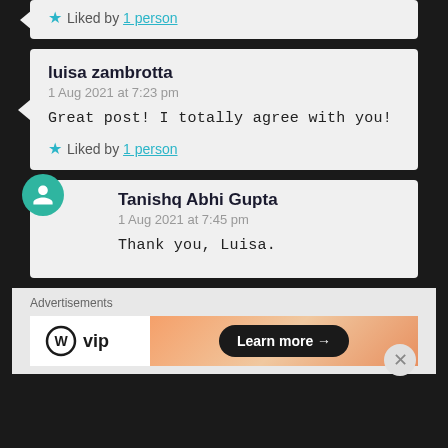Liked by 1 person
luisa zambrotta
1 Aug 2021 at 7:23 pm

Great post! I totally agree with you!

Liked by 1 person
Tanishq Abhi Gupta
1 Aug 2021 at 7:45 pm

Thank you, Luisa.
Advertisements